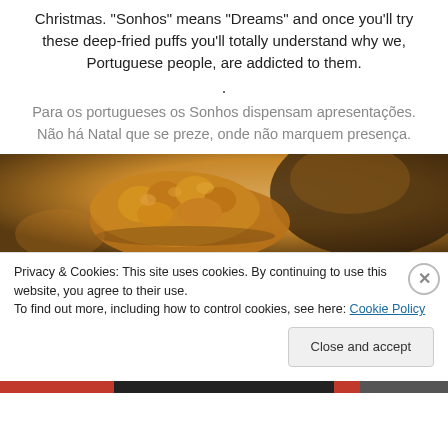Christmas. "Sonhos" means "Dreams" and once you'll try these deep-fried puffs you'll totally understand why we, Portuguese people, are addicted to them.
.
Para os portugueses os Sonhos dispensam apresentações. Não há Natal que se preze, onde não marquem presença.
[Figure (photo): Close-up photo of golden fried sonhos (Portuguese doughnuts) on a warm-toned background]
Privacy & Cookies: This site uses cookies. By continuing to use this website, you agree to their use.
To find out more, including how to control cookies, see here: Cookie Policy
Close and accept